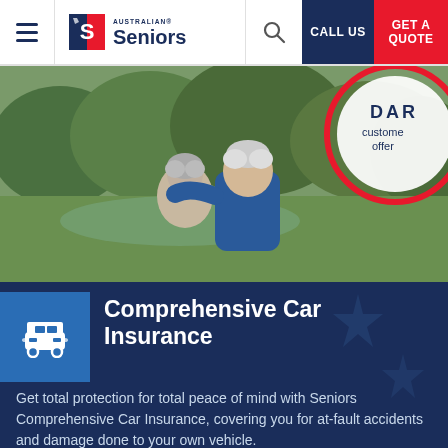Australian Seniors | CALL US | GET A QUOTE
[Figure (photo): Elderly couple sitting together outdoors with their backs to the camera, arms around each other, looking at a green landscape with trees and a body of water. A partially visible circular badge on the right reads 'DARE customer offer'.]
Comprehensive Car Insurance
Get total protection for total peace of mind with Seniors Comprehensive Car Insurance, covering you for at-fault accidents and damage done to your own vehicle.